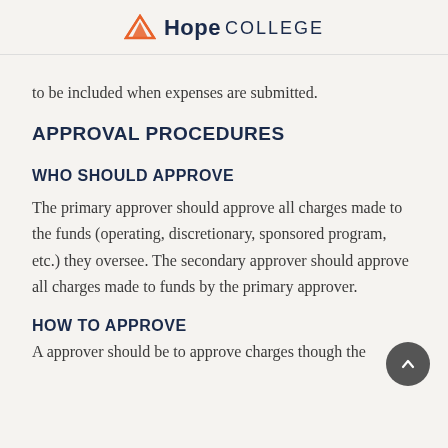Hope College
to be included when expenses are submitted.
APPROVAL PROCEDURES
WHO SHOULD APPROVE
The primary approver should approve all charges made to the funds (operating, discretionary, sponsored program, etc.) they oversee. The secondary approver should approve all charges made to funds by the primary approver.
HOW TO APPROVE
A approver should...